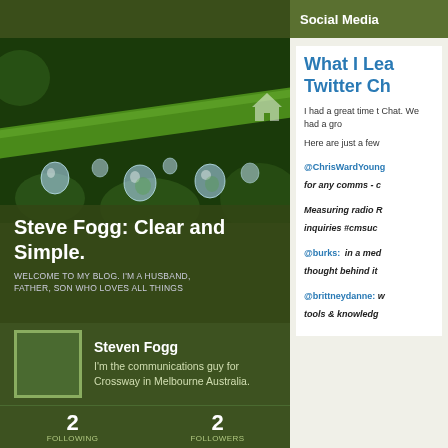[Figure (photo): Close-up macro photo of green plant stem with water droplets hanging underneath]
Steve Fogg: Clear and Simple.
WELCOME TO MY BLOG. I'M A HUSBAND, FATHER, SON WHO LOVES ALL THINGS
[Figure (photo): Avatar/profile picture placeholder box with green border]
Steven Fogg
I'm the communications guy for Crossway in Melbourne Australia.
2
FOLLOWING
2
FOLLOWERS
Social Media
What I Lea Twitter Ch
I had a great time t Chat. We had a gro
Here are just a few
@ChrisWardYoung for any comms - c
Measuring radio R inquiries #cmsuc
@burks:  in a med thought behind it
@brittneydanne: w tools & knowledg